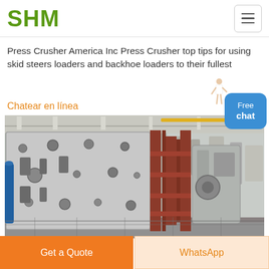SHM
Press Crusher America Inc Press Crusher top tips for using skid steers loaders and backhoe loaders to their fullest
Chatear en línea
[Figure (photo): Industrial press crusher machine frame components photographed inside a large manufacturing facility. Large grey metal frame plates with bolt holes and red structural beams visible, with industrial equipment in the background.]
Get a Quote
WhatsApp